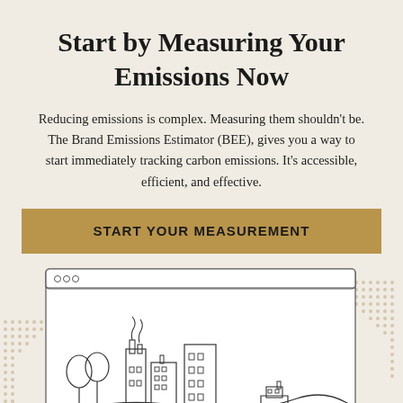Start by Measuring Your Emissions Now
Reducing emissions is complex. Measuring them shouldn't be. The Brand Emissions Estimator (BEE), gives you a way to start immediately tracking carbon emissions. It's accessible, efficient, and effective.
START YOUR MEASUREMENT
[Figure (illustration): Browser window illustration showing a line-art drawing of an industrial/urban scene with factories emitting smoke, trees, buildings, a ship on water, cars and trucks on a road.]